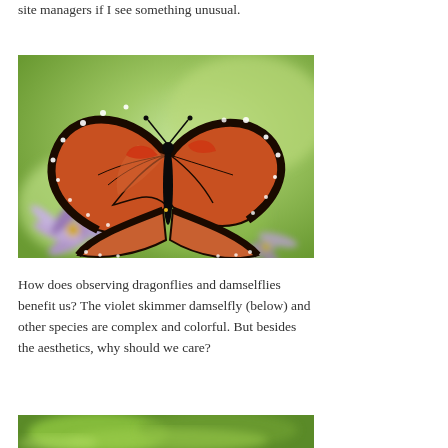site managers if I see something unusual.
[Figure (photo): A monarch butterfly with orange and black wings resting on purple wildflowers against a green blurred background.]
How does observing dragonflies and damselflies benefit us? The violet skimmer damselfly (below) and other species are complex and colorful. But besides the aesthetics, why should we care?
[Figure (photo): Bottom portion of an image showing green foliage, likely showing the violet skimmer damselfly mentioned in the text.]